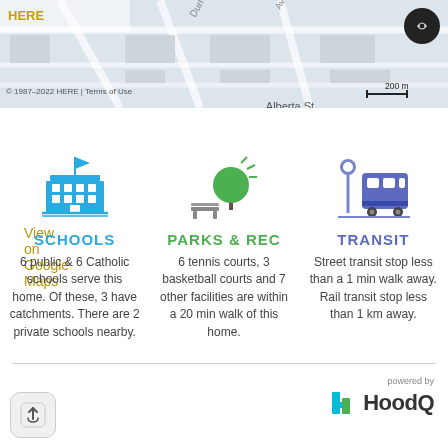[Figure (map): Street map showing local area with HERE Maps attribution, scale bar showing 200 m, and Alberta St label]
View on Google Maps
[Figure (infographic): Schools icon - blue building with columns and flag]
SCHOOLS
6 public & 6 Catholic schools serve this home. Of these, 3 have catchments. There are 2 private schools nearby.
[Figure (infographic): Parks & Rec icon - green tree with bench]
PARKS & REC
6 tennis courts, 3 basketball courts and 7 other facilities are within a 20 min walk of this home.
[Figure (infographic): Transit icon - purple/blue bus with stop sign]
TRANSIT
Street transit stop less than a 1 min walk away. Rail transit stop less than 1 km away.
[Figure (logo): HoodQ logo with colored h icon and 'powered by HoodQ' text]